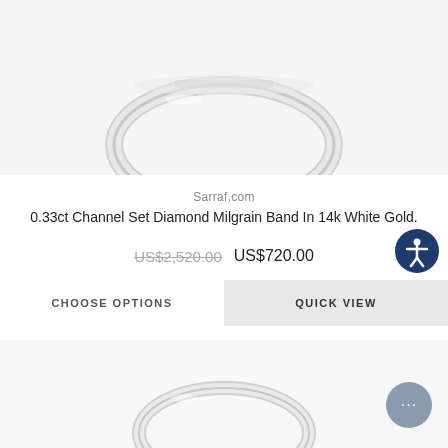SARRAF.COM — Your Premier Discount Jewelers For Over 30 Years
[Figure (photo): Close-up photo of a diamond milgrain band ring in 14k white gold, showing the top portion of the ring with channel-set diamonds]
Sarraf.com
0.33ct Channel Set Diamond Milgrain Band In 14k White Gold.
US$2,520.00  US$720.00
CHOOSE OPTIONS
QUICK VIEW
[Figure (photo): Bottom portion of a product listing showing another diamond ring in white gold, partially visible]